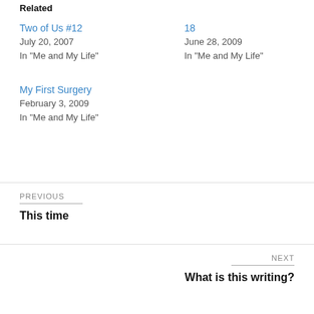Related
Two of Us #12
July 20, 2007
In "Me and My Life"
18
June 28, 2009
In "Me and My Life"
My First Surgery
February 3, 2009
In "Me and My Life"
PREVIOUS
This time
NEXT
What is this writing?